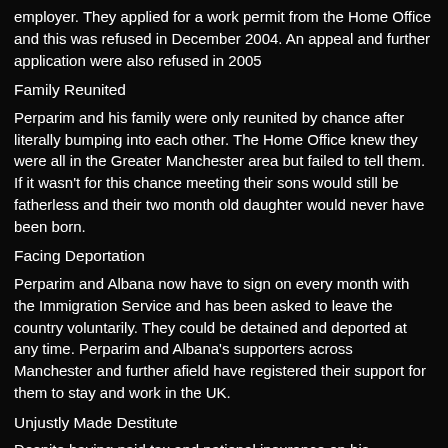employer. They applied for a work permit from the Home Office and this was refused in December 2004. An appeal and further application were also refused in 2005
Family Reunited
Perparim and his family were only reunited by chance after literally bumping into each other. The Home Office knew they were all in the Greater Manchester area but failed to tell them. If it wasn't for this chance meeting their sons would still be fatherless and their two month old daughter would never have been born.
Facing Deportation
Perparim and Albana now have to sign on every month with the Immigration Service and has been asked to leave the country voluntarily. They could be detained and deported at any time. Perparim and Albana's supporters across Manchester and further afield have registered their support for them to stay and work in the UK.
Unjustly Made Destitute
Despite having paid tax and national insurance on his